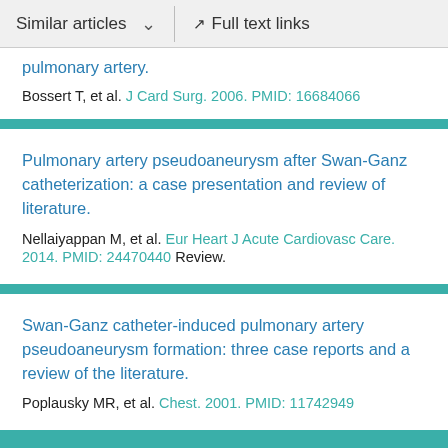Similar articles   Full text links
pulmonary artery.
Bossert T, et al. J Card Surg. 2006. PMID: 16684066
Pulmonary artery pseudoaneurysm after Swan-Ganz catheterization: a case presentation and review of literature.
Nellaiyappan M, et al. Eur Heart J Acute Cardiovasc Care. 2014. PMID: 24470440 Review.
Swan-Ganz catheter-induced pulmonary artery pseudoaneurysm formation: three case reports and a review of the literature.
Poplausky MR, et al. Chest. 2001. PMID: 11742949